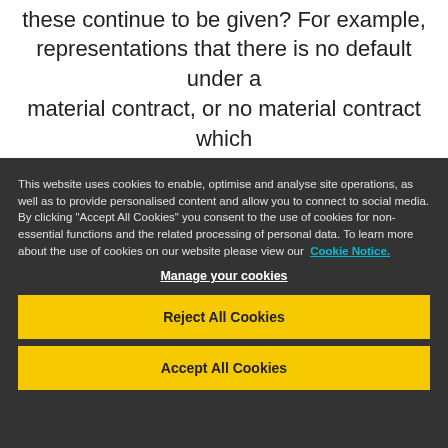these continue to be given? For example, representations that there is no default under a material contract, or no material contract which
This website uses cookies to enable, optimise and analyse site operations, as well as to provide personalised content and allow you to connect to social media. By clicking "Accept All Cookies" you consent to the use of cookies for non-essential functions and the related processing of personal data. To learn more about the use of cookies on our website please view our  Cookie Notice.
Manage your cookies
Reject All Cookies
Accept All Cookies